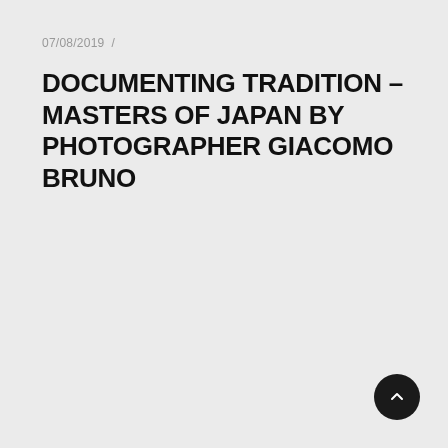07/08/2019  /
DOCUMENTING TRADITION – MASTERS OF JAPAN BY PHOTOGRAPHER GIACOMO BRUNO